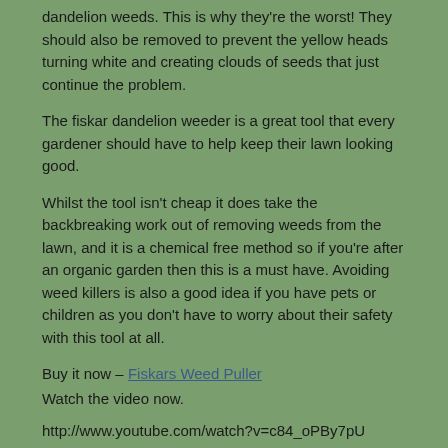dandelion weeds. This is why they're the worst! They should also be removed to prevent the yellow heads turning white and creating clouds of seeds that just continue the problem.
The fiskar dandelion weeder is a great tool that every gardener should have to help keep their lawn looking good.
Whilst the tool isn't cheap it does take the backbreaking work out of removing weeds from the lawn, and it is a chemical free method so if you're after an organic garden then this is a must have. Avoiding weed killers is also a good idea if you have pets or children as you don't have to worry about their safety with this tool at all.
Buy it now – Fiskars Weed Puller
Watch the video now.
http://www.youtube.com/watch?v=c84_oPBy7pU
« Jersey plants direct – a great shop for gardeners
Grow tomatoes? You need growpots »